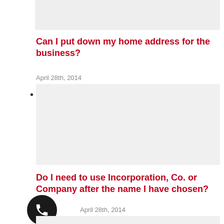[Figure (other): Gray placeholder image block at top]
Can I put down my home address for the business?
April 28th, 2014
[Figure (other): Gray content placeholder box]
Do I need to use Incorporation, Co. or Company after the name I have chosen?
April 28th, 2014
[Figure (other): Phone call button icon (black circle with phone handset)]